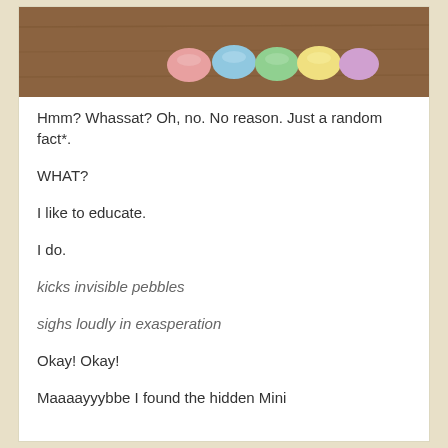[Figure (photo): Colorful pastel candy eggs (Mini Eggs) arranged on a wooden surface, viewed from above. Colors visible include pink, blue, green, yellow.]
Hmm? Whassat? Oh, no. No reason. Just a random fact*.
WHAT?
I like to educate.
I do.
kicks invisible pebbles
sighs loudly in exasperation
Okay! Okay!
Maaaayyybbe I found the hidden Mini